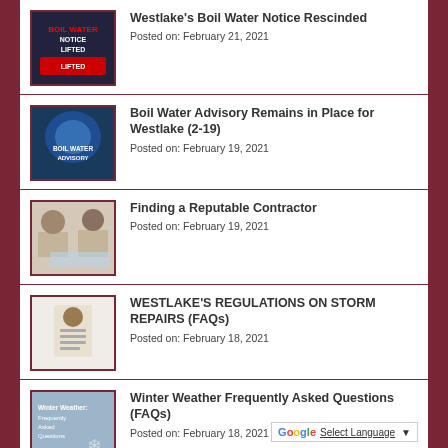Westlake's Boil Water Notice Rescinded
Posted on: February 21, 2021
Boil Water Advisory Remains in Place for Westlake (2-19)
Posted on: February 19, 2021
Finding a Reputable Contractor
Posted on: February 19, 2021
WESTLAKE'S REGULATIONS ON STORM REPAIRS (FAQs)
Posted on: February 18, 2021
Winter Weather Frequently Asked Questions (FAQs)
Posted on: February 18, 2021
Important Update fr...
Select Language